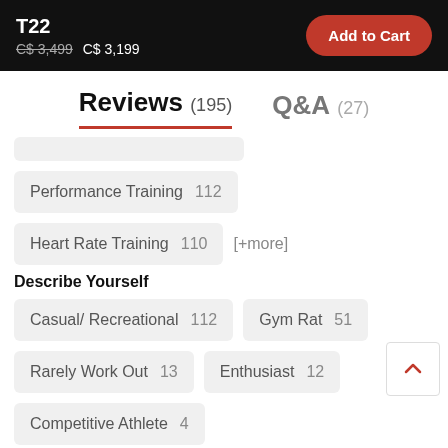T22 C$ 3,499 C$ 3,199 Add to Cart
Reviews (195)   Q&A (27)
Performance Training  112
Heart Rate Training  110  [+more]
Describe Yourself
Casual/ Recreational  112
Gym Rat  51
Rarely Work Out  13
Enthusiast  12
Competitive Athlete  4